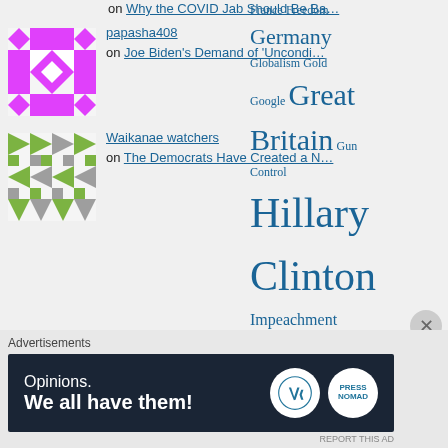on Why the COVID Jab Should Be Ba…
[Figure (illustration): Purple/magenta pixel avatar with diamond pattern]
papasha408 on Joe Biden's Demand of 'Uncondi…
[Figure (illustration): Green pixel avatar with triangle/arrow pattern]
Waikanae watchers on The Democrats Have Created a N…
France Freedom Germany Globalism Gold Google Great Britain Gun Control Hillary Clinton Impeachment Inflation interest rates Iran Iraq Israel James Comey Joe Biden Julian Assange Middle East Monetary inflation
Advertisements
[Figure (screenshot): WordPress advertisement banner: Opinions. We all have them!]